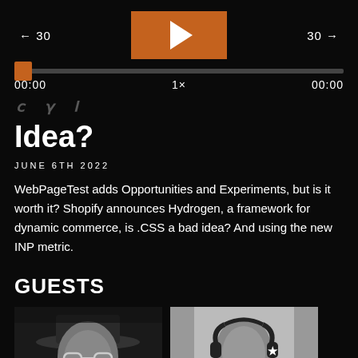[Figure (other): Podcast audio player with skip back 30, play button (orange), skip forward 30, progress bar, timestamps 00:00 and 00:00, speed 1x]
...y ... Idea?
JUNE 6TH 2022
WebPageTest adds Opportunities and Experiments, but is it worth it? Shopify announces Hydrogen, a framework for dynamic commerce, is .CSS a bad idea? And using the new INP metric.
GUESTS
[Figure (photo): Black and white photo of a person wearing a hat and glasses, cropped showing face and upper body]
[Figure (photo): Black and white photo of a person wearing headphones, cropped showing face and upper body]